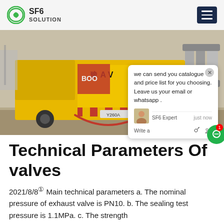SF6 SOLUTION
[Figure (photo): Yellow SF6 service vehicle (license plate 豫A V 2606) with industrial gas equipment and large metal pipe fittings in the background at an electrical substation.]
Technical Parameters Of valves
2021/8/8① Main technical parameters a. The nominal pressure of exhaust valve is PN10. b. The sealing test pressure is 1.1MPa. c. The strength